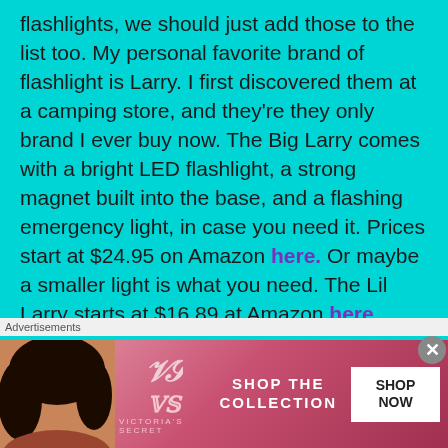flashlights, we should just add those to the list too. My personal favorite brand of flashlight is Larry. I first discovered them at a camping store, and they're they only brand I ever buy now. The Big Larry comes with a bright LED flashlight, a strong magnet built into the base, and a flashing emergency light, in case you need it. Prices start at $24.95 on Amazon here. Or maybe a smaller light is what you need. The Lil Larry starts at $16.89 at Amazon here.
[Figure (photo): Two Larry brand flashlights side by side: left is a black/yellow LED work light (Big Larry), right is a red LED work light (Lil Larry)]
Advertisements
[Figure (photo): Victoria's Secret advertisement banner: woman with curly hair, VS logo, SHOP THE COLLECTION text, SHOP NOW button]